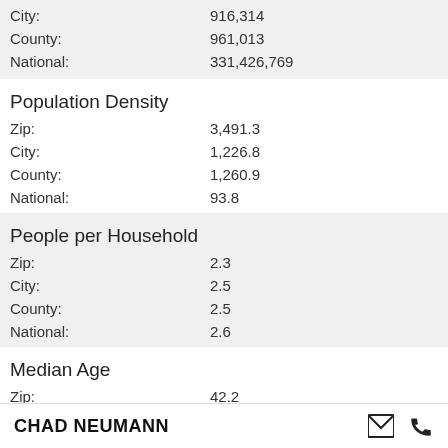|  |  |
| --- | --- |
| City: | 916,314 |
| County: | 961,013 |
| National: | 331,426,769 |
Population Density
|  |  |
| --- | --- |
| Zip: | 3,491.3 |
| City: | 1,226.8 |
| County: | 1,260.9 |
| National: | 93.8 |
People per Household
|  |  |
| --- | --- |
| Zip: | 2.3 |
| City: | 2.5 |
| County: | 2.5 |
| National: | 2.6 |
Median Age
|  |  |
| --- | --- |
| Zip: | 42.2 |
| City: | 38.2 |
| County: | 38.4 |
| National: | 39 |
CHAD NEUMANN